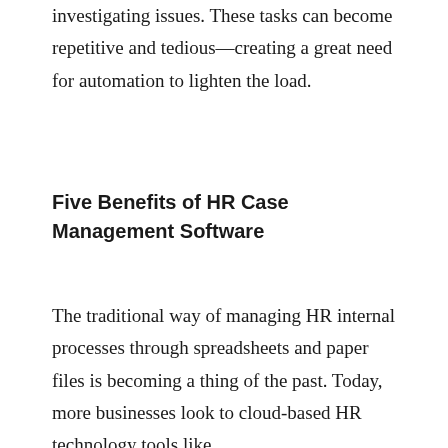investigating issues. These tasks can become repetitive and tedious—creating a great need for automation to lighten the load.
Five Benefits of HR Case Management Software
The traditional way of managing HR internal processes through spreadsheets and paper files is becoming a thing of the past. Today, more businesses look to cloud-based HR technology tools like…